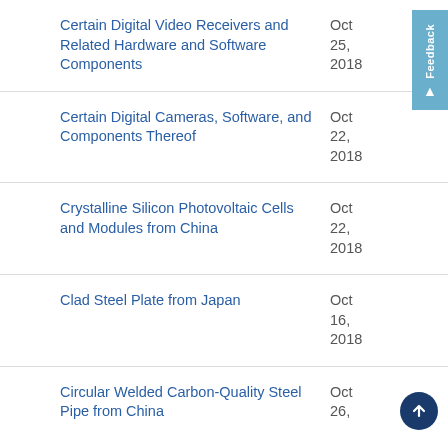Certain Digital Video Receivers and Related Hardware and Software Components
Oct 25, 2018
Certain Digital Cameras, Software, and Components Thereof
Oct 22, 2018
Crystalline Silicon Photovoltaic Cells and Modules from China
Oct 22, 2018
Clad Steel Plate from Japan
Oct 16, 2018
Circular Welded Carbon-Quality Steel Pipe from China
Oct 26, ...